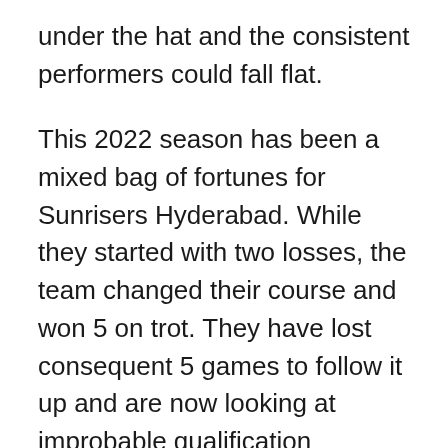under the hat and the consistent performers could fall flat.
This 2022 season has been a mixed bag of fortunes for Sunrisers Hyderabad. While they started with two losses, the team changed their course and won 5 on trot. They have lost consequent 5 games to follow it up and are now looking at improbable qualification chances. The team that looked like definite qualifier in the middle of the season, lost its way and never looked like coming back into reckoning.
The problem with the team is its composition